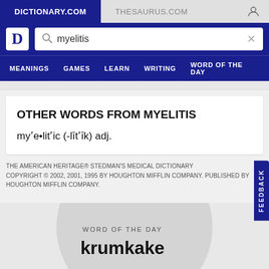DICTIONARY.COM | THESAURUS.COM
[Figure (screenshot): Dictionary.com search bar with 'myelitis' entered]
MEANINGS  GAMES  LEARN  WRITING  WORD OF THE DAY
OTHER WORDS FROM MYELITIS
myʹe•litʹic (-lītʹīk) adj.
THE AMERICAN HERITAGE® STEDMAN'S MEDICAL DICTIONARY COPYRIGHT © 2002, 2001, 1995 BY HOUGHTON MIFFLIN COMPANY. PUBLISHED BY HOUGHTON MIFFLIN COMPANY.
WORD OF THE DAY
krumkake